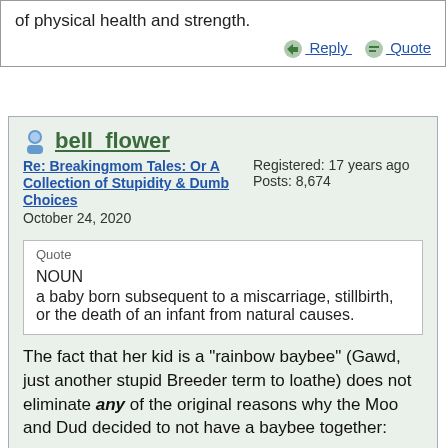of physical health and strength.
Reply   Quote
bell_flower
Re: Breakingmom Tales: Or A Collection of Stupidity & Dumb Choices
October 24, 2020
Registered: 17 years ago
Posts: 8,674
Quote
NOUN
a baby born subsequent to a miscarriage, stillbirth, or the death of an infant from natural causes.
The fact that her kid is a "rainbow baybee" (Gawd, just another stupid Breeder term to loathe) does not eliminate any of the original reasons why the Moo and Dud decided to not have a baybee together:
Quote
My DH45 and I had decided not to have a kid since he brought 3 kids into the relationship, and we both have arthritis and other health issues. But then my birth control